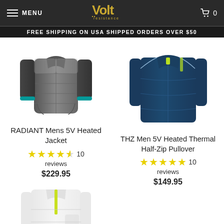MENU | Volt Resistance | Cart 0
FREE SHIPPING ON USA SHIPPED ORDERS OVER $50
[Figure (photo): Gray quilted heated jacket product photo]
RADIANT Mens 5V Heated Jacket
★★★★½ 10 reviews
$229.95
[Figure (photo): Navy blue thermal half-zip pullover product photo]
THZ Men 5V Heated Thermal Half-Zip Pullover
★★★★★ 10 reviews
$149.95
[Figure (photo): White half-zip pullover product photo (partially visible)]